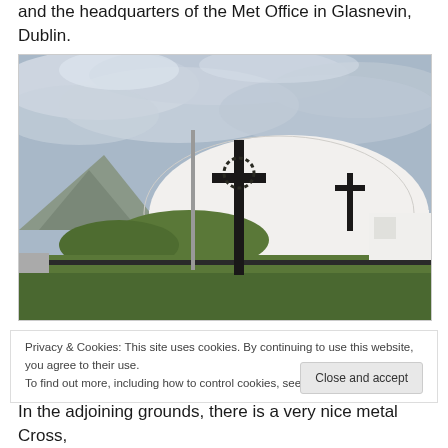and the headquarters of the Met Office in Glasnevin, Dublin.
[Figure (photo): A white domed church/chapel building with a large metal cross in front, set against a cloudy grey sky, with green bushes and a mountain in the background.]
Privacy & Cookies: This site uses cookies. By continuing to use this website, you agree to their use.
To find out more, including how to control cookies, see here: Cookie Policy
In the adjoining grounds, there is a very nice metal Cross,